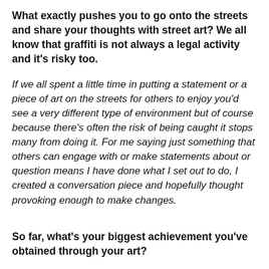What exactly pushes you to go onto the streets and share your thoughts with street art? We all know that graffiti is not always a legal activity and it's risky too.
If we all spent a little time in putting a statement or a piece of art on the streets for others to enjoy you'd see a very different type of environment but of course because there's often the risk of being caught it stops many from doing it. For me saying just something that others can engage with or make statements about or question means I have done what I set out to do, I created a conversation piece and hopefully thought provoking enough to make changes.
So far, what's your biggest achievement you've obtained through your art?